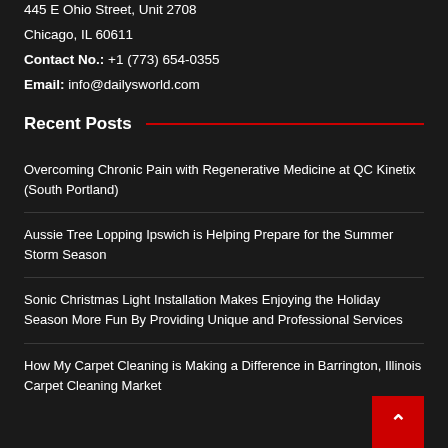445 E Ohio Street, Unit 2708
Chicago, IL 60611
Contact No.: +1 (773) 654-0355
Email: info@dailysworld.com
Recent Posts
Overcoming Chronic Pain with Regenerative Medicine at QC Kinetix (South Portland)
Aussie Tree Lopping Ipswich is Helping Prepare for the Summer Storm Season
Sonic Christmas Light Installation Makes Enjoying the Holiday Season More Fun By Providing Unique and Professional Services
How My Carpet Cleaning is Making a Difference in Barrington, Illinois Carpet Cleaning Market